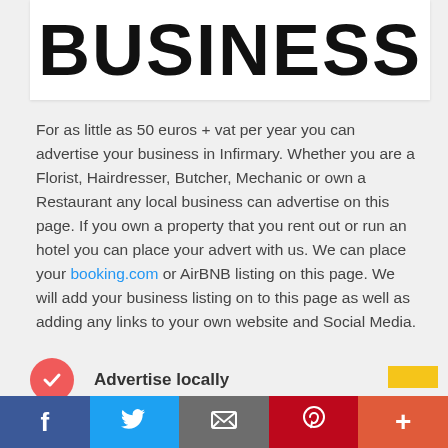BUSINESS
For as little as 50 euros + vat per year you can advertise your business in Infirmary. Whether you are a Florist, Hairdresser, Butcher, Mechanic or own a Restaurant any local business can advertise on this page. If you own a property that you rent out or run an hotel you can place your advert with us. We can place your booking.com or AirBNB listing on this page. We will add your business listing on to this page as well as adding any links to your own website and Social Media.
Advertise locally
More enquiries
Facebook | Twitter | Email | Pinterest | More